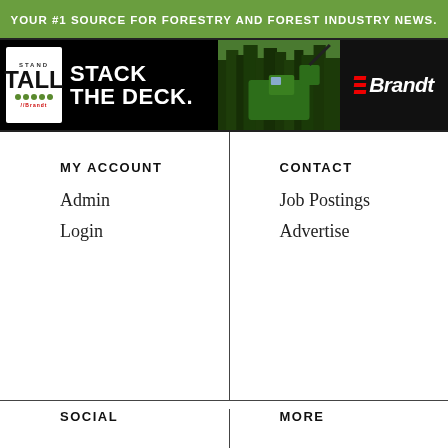YOUR #1 SOURCE FOR FORESTRY AND FOREST INDUSTRY NEWS.
[Figure (infographic): Brandt 'Stand Tall — Stack the Deck' banner advertisement featuring green forestry machinery in a forest, with the Brandt logo on the right]
MY ACCOUNT
Admin
Login
CONTACT
Job Postings
Advertise
SOCIAL
MORE